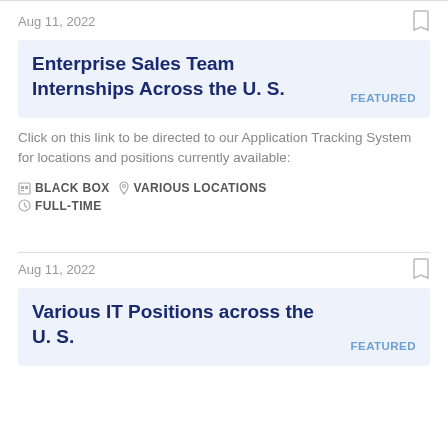Aug 11, 2022
Enterprise Sales Team Internships Across the U. S. FEATURED
Click on this link to be directed to our Application Tracking System for locations and positions currently available:
BLACK BOX  VARIOUS LOCATIONS  FULL-TIME
Aug 11, 2022
Various IT Positions across the U. S. FEATURED